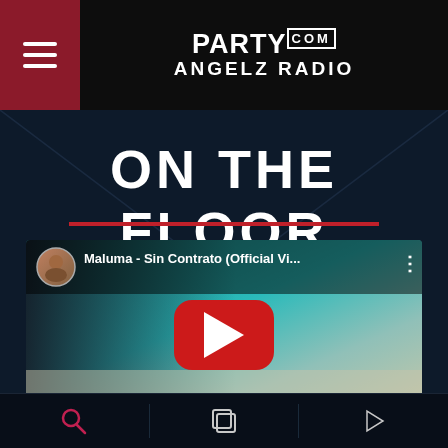Party Angelz Radio .com
ON THE FLOOR
[Figure (screenshot): YouTube video embed showing Maluma - Sin Contrato (Official Vi... with a red play button in the center. The thumbnail shows a man with sunglasses. The video player has a top bar with a circular avatar, video title, and three-dot menu.]
DUBSTEP
Search | Layers | Play navigation icons